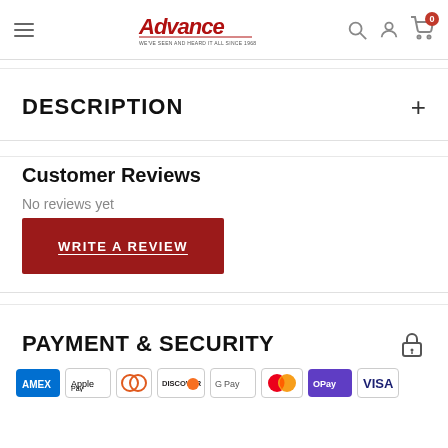Advance — We've seen and heard it all since 1968
DESCRIPTION
Customer Reviews
No reviews yet
WRITE A REVIEW
PAYMENT & SECURITY
[Figure (other): Payment method icons: Amex, Apple Pay, Diners Club, Discover, Google Pay, Mastercard, O Pay, Visa]